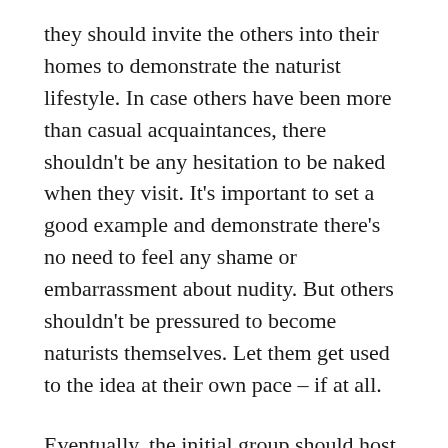they should invite the others into their homes to demonstrate the naturist lifestyle. In case others have been more than casual acquaintances, there shouldn't be any hesitation to be naked when they visit. It's important to set a good example and demonstrate there's no need to feel any shame or embarrassment about nudity. But others shouldn't be pressured to become naturists themselves. Let them get used to the idea at their own pace – if at all.
Eventually, the initial group should host gatherings for others, in which some who choose to can be naked in a “safe” environment. The next step is to encourage